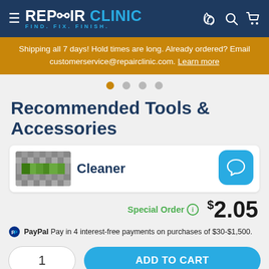REPAIR CLINIC — FIND. FIX. FINISH.
Shipping all 7 days! Hold times are long. Already ordered? Email customerservice@repairclinic.com. Learn more
Recommended Tools & Accessories
Cleaner
Special Order  $2.05
PayPal Pay in 4 interest-free payments on purchases of $30-$1,500.
1  ADD TO CART